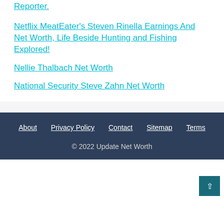Reporter.
Netflix MeatEater's Steven Rinella Earnings And Net Worth, Life Beside Hunting and Fishing Explored!
Nellie Thalbach Net Worth
National Security Steve Zahn Net Worth
About  Privacy Policy  Contact  Sitemap  Terms
© 2022 Update Net Worth